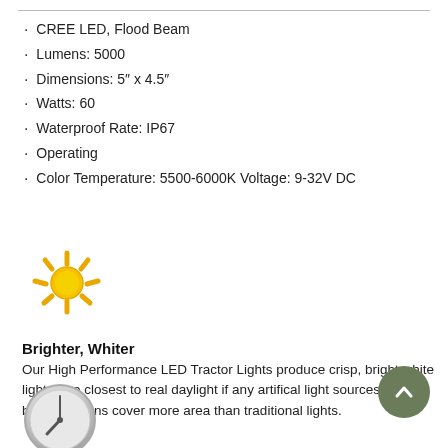CREE LED, Flood Beam
Lumens: 5000
Dimensions: 5″ x 4.5″
Watts: 60
Waterproof Rate: IP67
Operating
Color Temperature: 5500-6000K Voltage: 9-32V DC
[Figure (illustration): Sun icon — yellow circle with radiating rays, representing bright light]
Brighter, Whiter
Our High Performance LED Tractor Lights produce crisp, bright white light – the closest to real daylight if any artifical light sources. Their beam patterns cover more area than traditional lights.
[Figure (illustration): Clock icon — circular silver clock face showing approximately 7 o'clock]
Longer-Lasting
The quality components of our LED lights last longer for all...